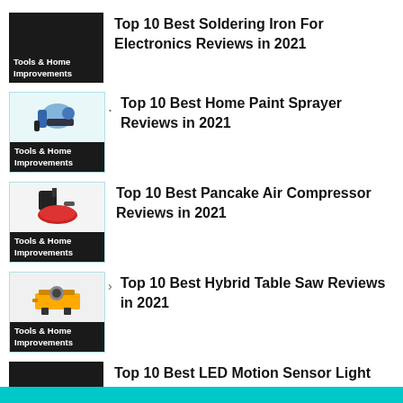Top 10 Best Soldering Iron For Electronics Reviews in 2021
Top 10 Best Home Paint Sprayer Reviews in 2021
Top 10 Best Pancake Air Compressor Reviews in 2021
Top 10 Best Hybrid Table Saw Reviews in 2021
Top 10 Best LED Motion Sensor Light Reviews in 2021